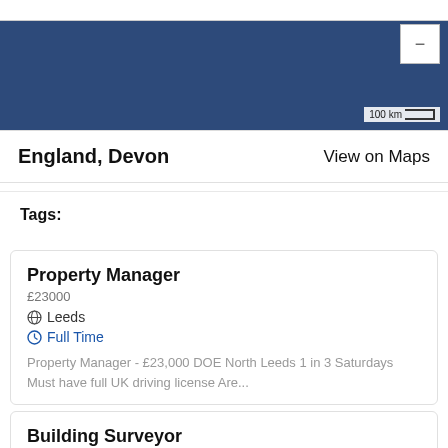[Figure (map): Partial map screenshot showing England, Devon region with dark navy blue background and scale bar showing 100 km]
England, Devon
View on Maps
Tags:
Property Manager
£23000
Leeds
Full Time
Property Manager - £23,000 DOE North Leeds 1 in 3 Saturdays Must have full UK driving license Are...
Building Surveyor